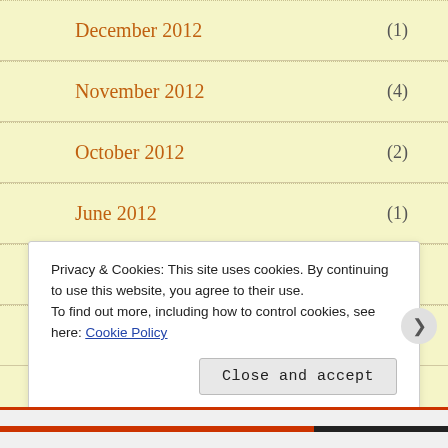December 2012 (1)
November 2012 (4)
October 2012 (2)
June 2012 (1)
April 2012 (1)
March 2012 (1)
Privacy & Cookies: This site uses cookies. By continuing to use this website, you agree to their use.
To find out more, including how to control cookies, see here: Cookie Policy
Close and accept